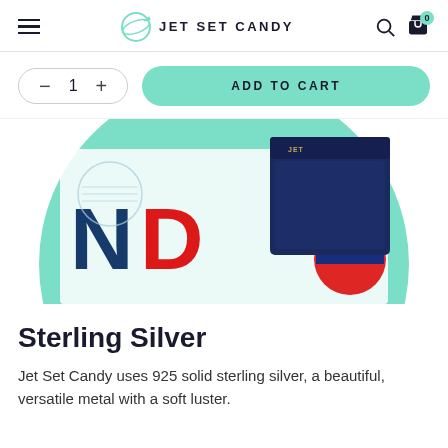JET SET CANDY
[Figure (screenshot): Add to cart interface with quantity selector showing minus, 1, plus in pill shape and mint green ADD TO CART button]
[Figure (photo): Product photo showing a navy blue Jet Set Candy jewelry box on a London Underground souvenir background with partial LONDON text visible, displayed inside a mint green circle]
Sterling Silver
Jet Set Candy uses 925 solid sterling silver, a beautiful, versatile metal with a soft luster.